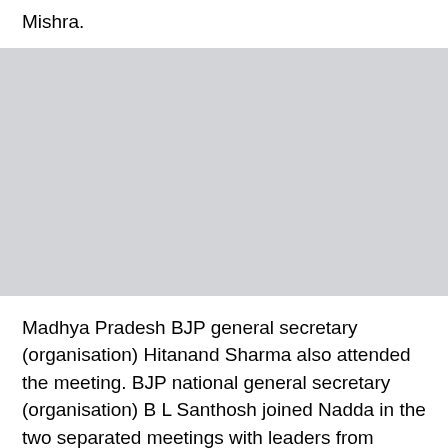Mishra.
[Figure (photo): Gray placeholder image block]
Madhya Pradesh BJP general secretary (organisation) Hitanand Sharma also attended the meeting. BJP national general secretary (organisation) B L Santhosh joined Nadda in the two separated meetings with leaders from Madhya Pradesh and